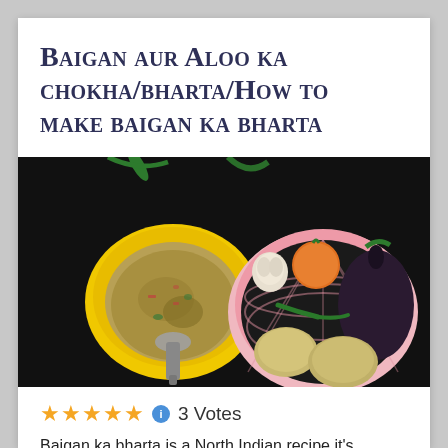Baigan aur Aloo ka chokha/bharta/How to make baigan ka bharta
[Figure (photo): Top-down photo of a yellow bowl containing baigan ka bharta (mashed eggplant dish) with a spoon, next to a pink basket containing a whole eggplant, tomato, garlic, green chillies, and potatoes, all on a dark background]
★★★★★ ℹ 3 Votes
Baigan ka bharta is a North Indian recipe it's